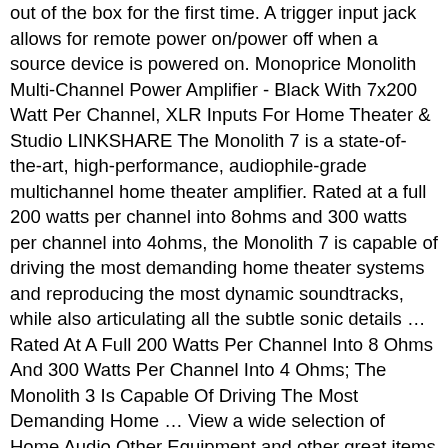out of the box for the first time. A trigger input jack allows for remote power on/power off when a source device is powered on. Monoprice Monolith Multi-Channel Power Amplifier - Black With 7x200 Watt Per Channel, XLR Inputs For Home Theater & Studio LINKSHARE The Monolith 7 is a state-of-the-art, high-performance, audiophile-grade multichannel home theater amplifier. Rated at a full 200 watts per channel into 8ohms and 300 watts per channel into 4ohms, the Monolith 7 is capable of driving the most demanding home theater systems and reproducing the most dynamic soundtracks, while also articulating all the subtle sonic details … Rated At A Full 200 Watts Per Channel Into 8 Ohms And 300 Watts Per Channel Into 4 Ohms; The Monolith 3 Is Capable Of Driving The Most Demanding Home … View a wide selection of Home Audio Other Equipment and other great items on KSL Classifieds. A revealing view of the Monolith 7. With 5 pair of output devices per channel, ample heatsinking, and two giant toroidal power supplies, this amp appears to have the goods to hit its 200 watts/CH into 8 ohms and 300 watts/CH into 4 ohms power ratings. Because the Monoprice introduced the Monolith 7 ...